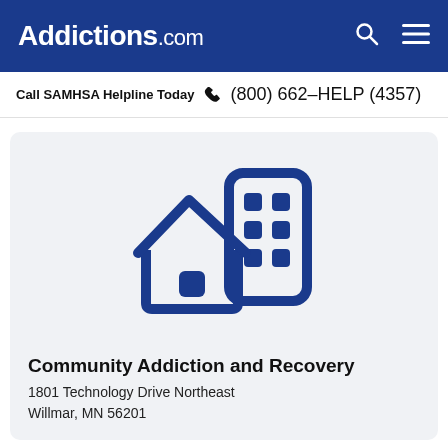Addictions.com
Call SAMHSA Helpline Today  (800) 662-HELP (4357)
[Figure (illustration): Blue icon of a house and a multi-story building representing a recovery/addiction treatment facility]
Community Addiction and Recovery
1801 Technology Drive Northeast
Willmar, MN 56201